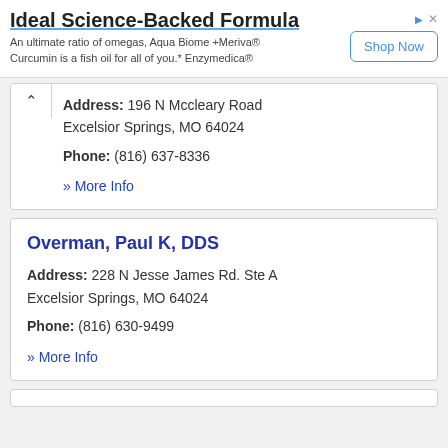[Figure (screenshot): Advertisement banner for Ideal Science-Backed Formula with Shop Now button]
Address: 196 N Mccleary Road
Excelsior Springs, MO 64024
Phone: (816) 637-8336
» More Info
Overman, Paul K, DDS
Address: 228 N Jesse James Rd. Ste A
Excelsior Springs, MO 64024
Phone: (816) 630-9499
» More Info